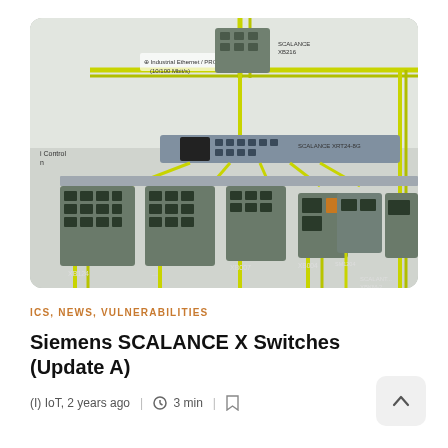[Figure (photo): Photo of Siemens SCALANCE X industrial Ethernet switches mounted on a wall panel, connected with yellow-green cables. Visible units include SCALANCE XB216, SCALANCE XRT24-8G, XB124, XB007, XB102, XB004, SM1204, XBKM-2 and others.]
ICS, NEWS, VULNERABILITIES
Siemens SCALANCE X Switches (Update A)
(I) IoT, 2 years ago  |  3 min  |  bookmark